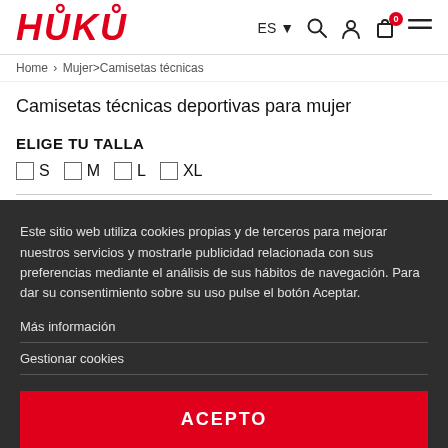HUKO  ES  [search] [account] [cart 0] [menu]
Home > Mujer>Camisetas técnicas
Camisetas técnicas deportivas para mujer
ELIGE TU TALLA
☐ S  ☐ M  ☐ L  ☐ XL
Este sitio web utiliza cookies propias y de terceros para mejorar nuestros servicios y mostrarle publicidad relacionada con sus preferencias mediante el análisis de sus hábitos de navegación. Para dar su consentimiento sobre su uso pulse el botón Aceptar.
Más información
Gestionar cookies
ACEPTO